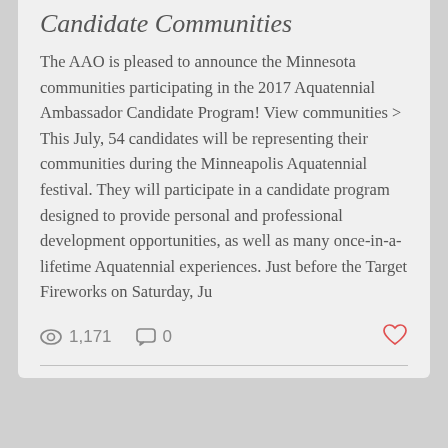Candidate Communities
The AAO is pleased to announce the Minnesota communities participating in the 2017 Aquatennial Ambassador Candidate Program! View communities > This July, 54 candidates will be representing their communities during the Minneapolis Aquatennial festival. They will participate in a candidate program designed to provide personal and professional development opportunities, as well as many once-in-a-lifetime Aquatennial experiences. Just before the Target Fireworks on Saturday, Ju
[Figure (illustration): Minneapolis Aquatennial ship wheel logo with teal background and cross anchor symbol]